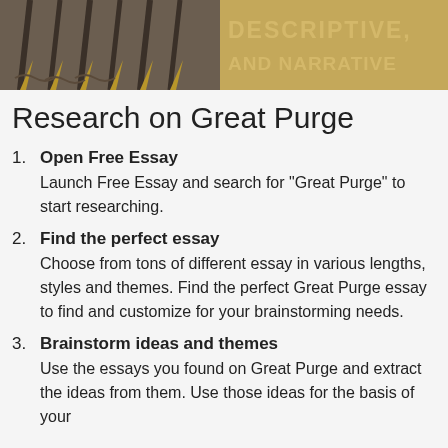[Figure (illustration): Header image with fountain pens on the left side and decorative text reading 'DESCRIPTIVE, AND NARRATIVE' on the right side with a golden/tan background]
Research on Great Purge
Open Free Essay
Launch Free Essay and search for "Great Purge" to start researching.
Find the perfect essay
Choose from tons of different essay in various lengths, styles and themes. Find the perfect Great Purge essay to find and customize for your brainstorming needs.
Brainstorm ideas and themes
Use the essays you found on Great Purge and extract the ideas from them. Use those ideas for the basis of your